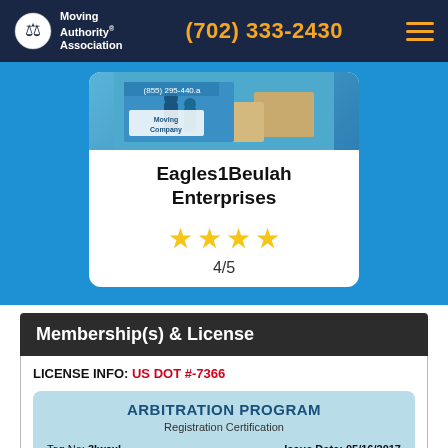Moving Authority Association | (702) 333-2430
[Figure (photo): Moving company image with movers and boxes, company truck visible]
Eagles1Beulah Enterprises
4/5 (4 stars out of 5)
Membership(s) & License
LICENSE INFO: US DOT #-7366
ARBITRATION PROGRAM
Registration Certification
Tag No: 3lwsxl
Eagles1Beulah Enterprises
Issue Date: 05/16/2017